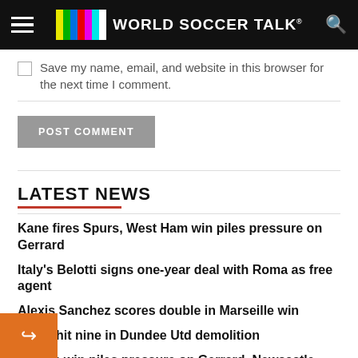World Soccer Talk
Save my name, email, and website in this browser for the next time I comment.
POST COMMENT
LATEST NEWS
Kane fires Spurs, West Ham win piles pressure on Gerrard
Italy's Belotti signs one-year deal with Roma as free agent
Alexis Sanchez scores double in Marseille win
Celtic hit nine in Dundee Utd demolition
st Ham win piles pressure on Gerrard, Newcastle tch draw